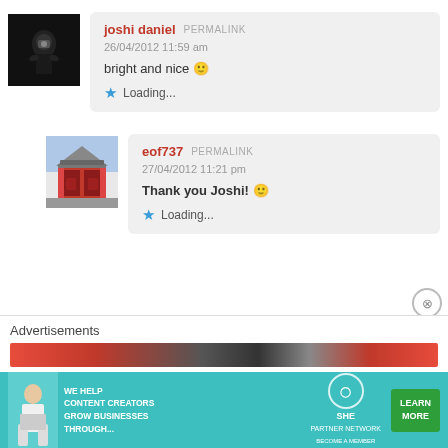[Figure (photo): Dark black and white avatar photo of joshi daniel]
joshi daniel PERMALINK
26/04/2012 11:59 am
bright and nice 🙂
★ Loading...
[Figure (photo): Colorful photo of a Japanese temple gate (red and orange)]
eof737 PERMALINK
27/04/2012 11:21 pm
Thank you Joshi! 🙂
★ Loading...
Advertisements
[Figure (photo): SHE Partner Network advertisement banner with woman and logo]
WE HELP CONTENT CREATORS GROW BUSINESSES THROUGH... | SHE PARTNER NETWORK BECOME A MEMBER | LEARN MORE